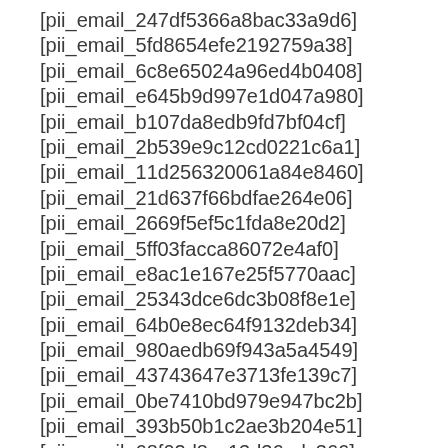[pii_email_247df5366a8bac33a9d6]
[pii_email_5fd8654efe2192759a38]
[pii_email_6c8e65024a96ed4b0408]
[pii_email_e645b9d997e1d047a980]
[pii_email_b107da8edb9fd7bf04cf]
[pii_email_2b539e9c12cd0221c6a1]
[pii_email_11d256320061a84e8460]
[pii_email_21d637f66bdfae264e06]
[pii_email_2669f5ef5c1fda8e20d2]
[pii_email_5ff03facca86072e4af0]
[pii_email_e8ac1e167e25f5770aac]
[pii_email_25343dce6dc3b08f8e1e]
[pii_email_64b0e8ec64f9132deb34]
[pii_email_980aedb69f943a5a4549]
[pii_email_43743647e3713fe139c7]
[pii_email_0be7410bd979e947bc2b]
[pii_email_393b50b1c2ae3b204e51]
[pii_email_68f02d8cc13d36adc366]
[pii_email_b681488ead911bb21417]